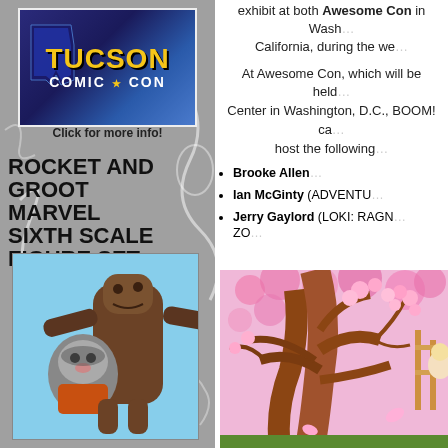[Figure (logo): Tucson Comic-Con logo with blue starburst background and yellow text]
Click for more info!
ROCKET AND GROOT MARVEL SIXTH SCALE FIGURE SET
[Figure (photo): Rocket Raccoon and Groot Marvel figures posed together]
exhibit at both Awesome Con in Washington, D.C., and California, during the weekend
At Awesome Con, which will be held at the Washington Convention Center in Washington, D.C., BOOM! ca... host the following
Brooke Allen
Ian McGinty (ADVENTU...
Jerry Gaylord (LOKI: RAGN... ZO...
[Figure (illustration): Comic book art showing a tree with pink cherry blossoms and characters]